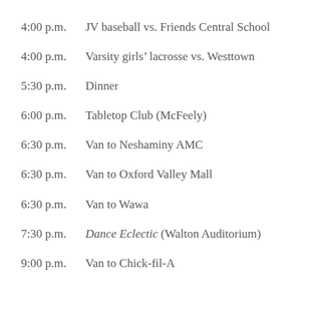4:00 p.m.  JV baseball vs. Friends Central School
4:00 p.m.  Varsity girls’ lacrosse vs. Westtown
5:30 p.m.  Dinner
6:00 p.m.  Tabletop Club (McFeely)
6:30 p.m.  Van to Neshaminy AMC
6:30 p.m.  Van to Oxford Valley Mall
6:30 p.m.  Van to Wawa
7:30 p.m.  Dance Eclectic (Walton Auditorium)
9:00 p.m.  Van to Chick-fil-A